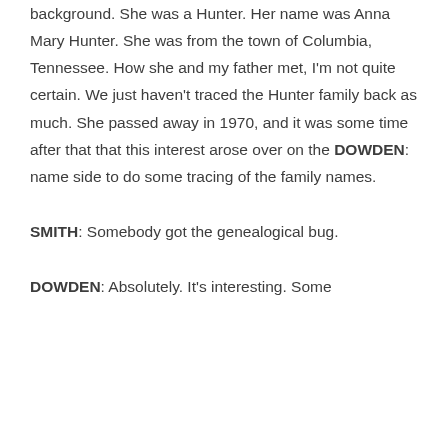background. She was a Hunter. Her name was Anna Mary Hunter. She was from the town of Columbia, Tennessee. How she and my father met, I'm not quite certain. We just haven't traced the Hunter family back as much. She passed away in 1970, and it was some time after that that this interest arose over on the DOWDEN: name side to do some tracing of the family names.
SMITH: Somebody got the genealogical bug.
DOWDEN: Absolutely. It's interesting. Some